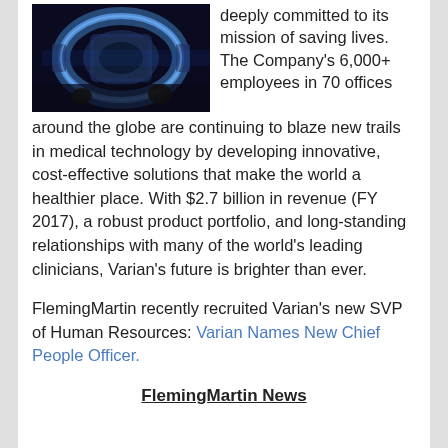[Figure (photo): Medical imaging device (CT scanner or radiation therapy machine) glowing in blue light in a dark room]
deeply committed to its mission of saving lives. The Company's 6,000+ employees in 70 offices around the globe are continuing to blaze new trails in medical technology by developing innovative, cost-effective solutions that make the world a healthier place. With $2.7 billion in revenue (FY 2017), a robust product portfolio, and long-standing relationships with many of the world's leading clinicians, Varian's future is brighter than ever.
FlemingMartin recently recruited Varian's new SVP of Human Resources: Varian Names New Chief People Officer.
FlemingMartin News